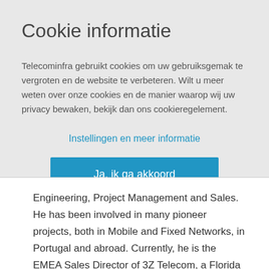Cookie informatie
Telecominfra gebruikt cookies om uw gebruiksgemak te vergroten en de website te verbeteren. Wilt u meer weten over onze cookies en de manier waarop wij uw privacy bewaken, bekijk dan ons cookieregelement.
Instellingen en meer informatie
Ja, ik ga akkoord
Engineering, Project Management and Sales. He has been involved in many pioneer projects, both in Mobile and Fixed Networks, in Portugal and abroad. Currently, he is the EMEA Sales Director of 3Z Telecom, a Florida based company that develops and sells innovative